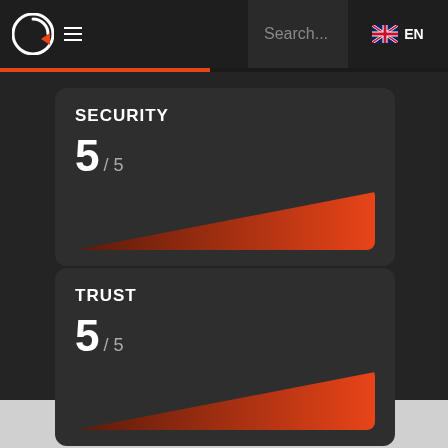Search... EN
[Figure (infographic): Security rating card showing 5/5 score with a triangular gradient bar from dark orange-red on left to bright orange-red on right]
[Figure (infographic): Trust rating card showing 5/5 score with a triangular gradient bar from dark orange-red on left to bright orange-red on right]